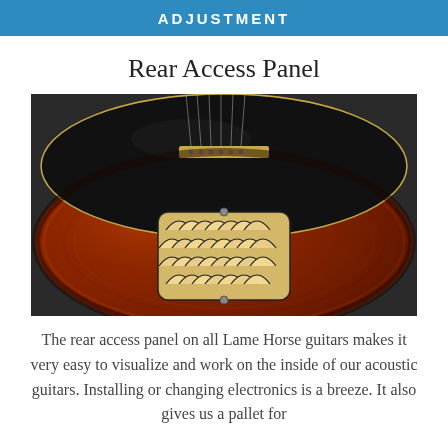ADJUSTMENT
Rear Access Panel
[Figure (photo): Close-up photo of the rear of a Lame Horse acoustic guitar showing the decorative rear access panel with an Art Deco scallop/fish-scale pattern in cream and black, set into the red-brown wood body.]
The rear access panel on all Lame Horse guitars makes it very easy to visualize and work on the inside of our acoustic guitars. Installing or changing electronics is a breeze. It also gives us a pallet for